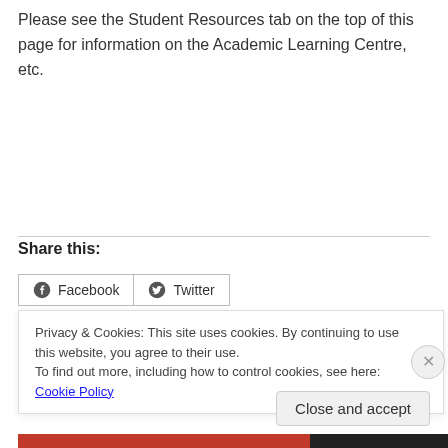Please see the Student Resources tab on the top of this page for information on the Academic Learning Centre, etc.
Share this:
[Figure (screenshot): Facebook and Twitter share buttons side by side]
Privacy & Cookies: This site uses cookies. By continuing to use this website, you agree to their use.
To find out more, including how to control cookies, see here: Cookie Policy
Close and accept